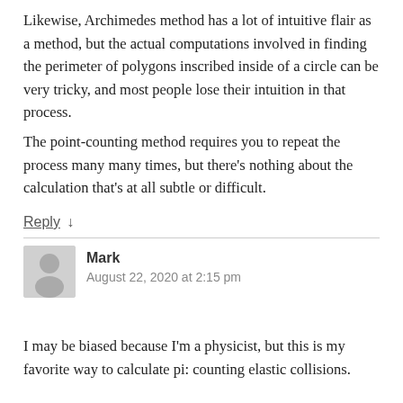Likewise, Archimedes method has a lot of intuitive flair as a method, but the actual computations involved in finding the perimeter of polygons inscribed inside of a circle can be very tricky, and most people lose their intuition in that process.
The point-counting method requires you to repeat the process many many times, but there’s nothing about the calculation that’s at all subtle or difficult.
Reply ↓
Mark
August 22, 2020 at 2:15 pm
I may be biased because I’m a physicist, but this is my favorite way to calculate pi: counting elastic collisions.